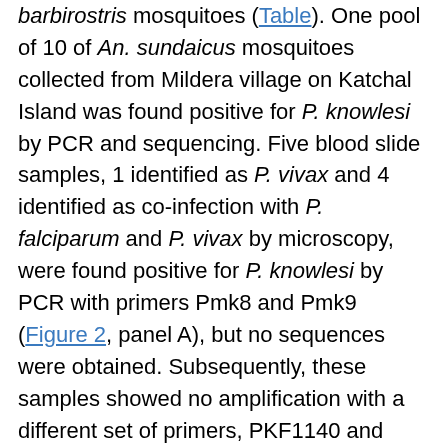barbirostris mosquitoes (Table). One pool of 10 of An. sundaicus mosquitoes collected from Mildera village on Katchal Island was found positive for P. knowlesi by PCR and sequencing. Five blood slide samples, 1 identified as P. vivax and 4 identified as co-infection with P. falciparum and P. vivax by microscopy, were found positive for P. knowlesi by PCR with primers Pmk8 and Pmk9 (Figure 2, panel A), but no sequences were obtained. Subsequently, these samples showed no amplification with a different set of primers, PKF1140 and PKR1550 (14) (Figure 2, panel B). The false amplification may be due to cross-hybridization of primers Pmk8 and Pmk9 with P. vivax DNA. Therefore, we could not conclude that those samples were positive for P. knowlesi. We found P. knowlesi DNA in An. sundaicus mosquitoes and confirmed our findings by nucleotide sequence analysis. The nucleotide sequences obtained from our study resembled P.